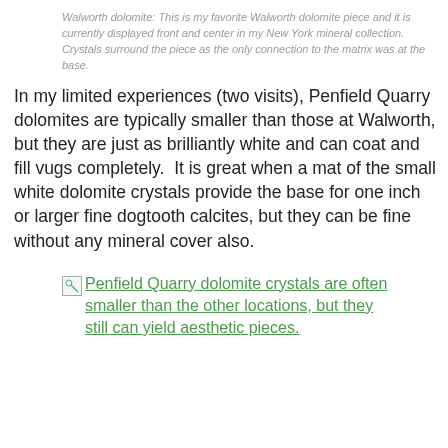Walworth dolomite: This is my favorite Walworth dolomite piece and it is currently displayed front and center in my New York mineral collection. Crystals surround the piece as the only connection to the matrix was at the base.
In my limited experiences (two visits), Penfield Quarry dolomites are typically smaller than those at Walworth, but they are just as brilliantly white and can coat and fill vugs completely. It is great when a mat of the small white dolomite crystals provide the base for one inch or larger fine dogtooth calcites, but they can be fine without any mineral cover also.
[Figure (photo): Broken image placeholder with alt text: Penfield Quarry dolomite crystals are often smaller than the other locations, but they still can yield aesthetic pieces.]